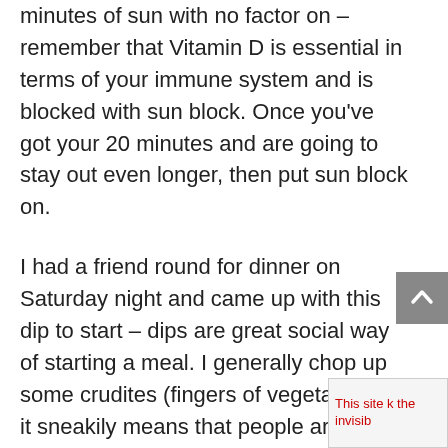minutes of sun with no factor on – remember that Vitamin D is essential in terms of your immune system and is blocked with sun block. Once you've got your 20 minutes and are going to stay out even longer, then put sun block on.
I had a friend round for dinner on Saturday night and came up with this dip to start – dips are great social way of starting a meal. I generally chop up some crudites (fingers of vegetables) – it sneakily means that people are getting in more of their 5 fruit and veg a day without even noticing!!!